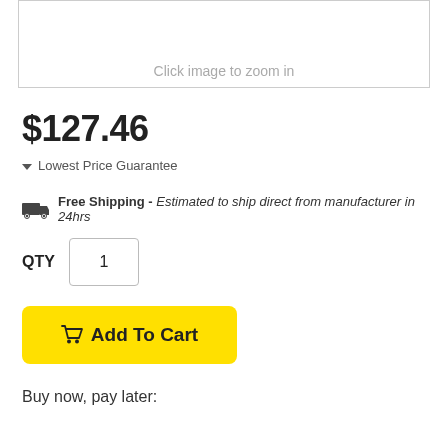[Figure (other): Product image placeholder with 'Click image to zoom in' text]
Click image to zoom in
$127.46
Lowest Price Guarantee
Free Shipping - Estimated to ship direct from manufacturer in 24hrs
QTY  1
Add To Cart
Buy now, pay later: